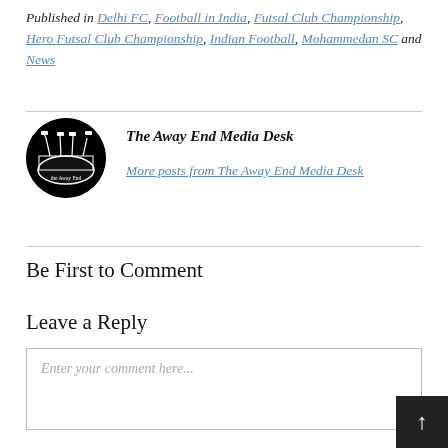Published in Delhi FC, Football in India, Futsal Club Championship, Hero Futsal Club Championship, Indian Football, Mohammedan SC and News
[Figure (illustration): Circular logo of The Away End Media Desk — black circle with white stadium/floodlights illustration and text 'the Away End' at the bottom]
The Away End Media Desk
More posts from The Away End Media Desk
Be First to Comment
Leave a Reply
Enter your comment here...